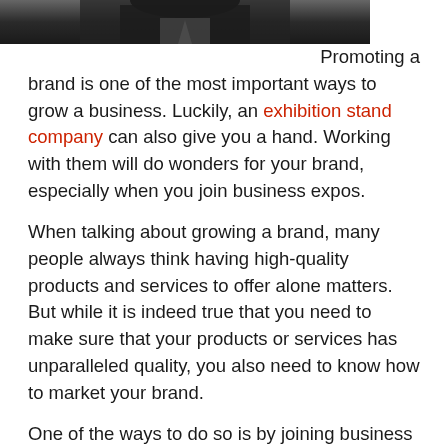[Figure (photo): Black and white photo of a person in a suit, cropped to show upper body, dark background]
Promoting a brand is one of the most important ways to grow a business. Luckily, an exhibition stand company can also give you a hand. Working with them will do wonders for your brand, especially when you join business expos.
When talking about growing a brand, many people always think having high-quality products and services to offer alone matters. But while it is indeed true that you need to make sure that your products or services has unparalleled quality, you also need to know how to market your brand.
One of the ways to do so is by joining business exhibits as this is where you can meet other hoteliers that you can partner with someday and even meet more clients. However, for this to happen smoothly, you need to get noticed first. And you can do that by having creative